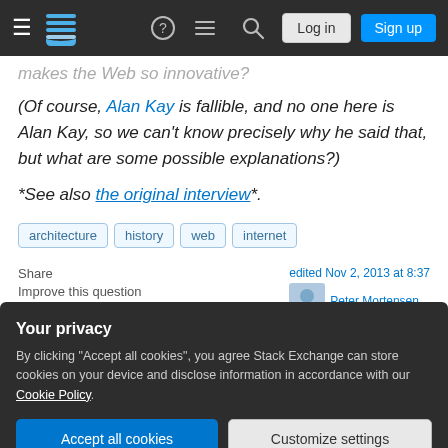Stack Exchange navigation bar with logo, help, chat, search, login, sign up
makes the Web so innovative?
(Of course, Alan Kay is fallible, and no one here is Alan Kay, so we can't know precisely why he said that, but what are some possible explanations?)
*See also the original interview*.
Tags: architecture  history  web  internet
Share   Improve this question   edited Nov 2, 2013 at 8:37  Peter Mortensen
Your privacy
By clicking "Accept all cookies", you agree Stack Exchange can store cookies on your device and disclose information in accordance with our Cookie Policy.
Accept all cookies   Customize settings
24  Actually Alan Kay has at one point in the past